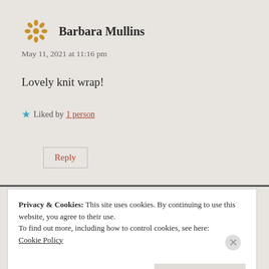Barbara Mullins
May 11, 2021 at 11:16 pm
Lovely knit wrap!
★ Liked by 1 person
Reply
Privacy & Cookies: This site uses cookies. By continuing to use this website, you agree to their use.
To find out more, including how to control cookies, see here:
Cookie Policy
Close and accept